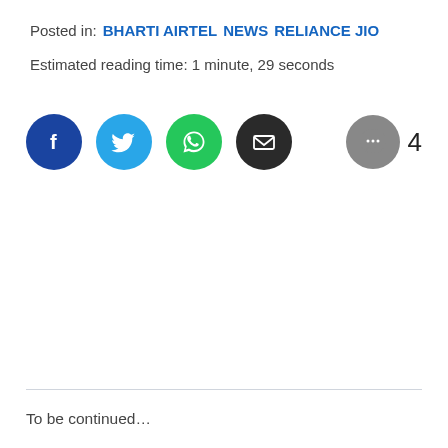Posted in: BHARTI AIRTEL  NEWS  RELIANCE JIO
Estimated reading time: 1 minute, 29 seconds
[Figure (infographic): Social sharing buttons: Facebook (dark blue), Twitter (light blue), WhatsApp (green), Email (black). Comment count bubble (grey) with number 4.]
To be continued...